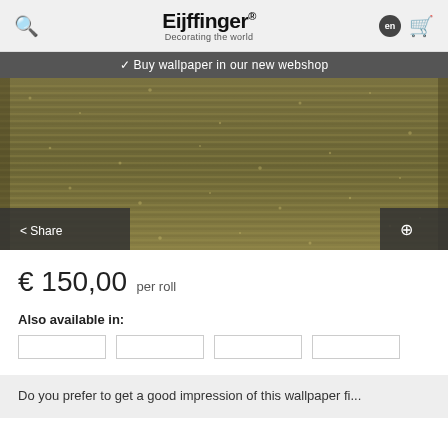Eijffinger® Decorating the world
✓ Buy wallpaper in our new webshop
[Figure (photo): Close-up texture of olive/khaki grasscloth wallpaper with horizontal woven strands and subtle metallic shimmer]
€ 150,00 per roll
Also available in:
Do you prefer to get a good impression of this wallpaper fi...